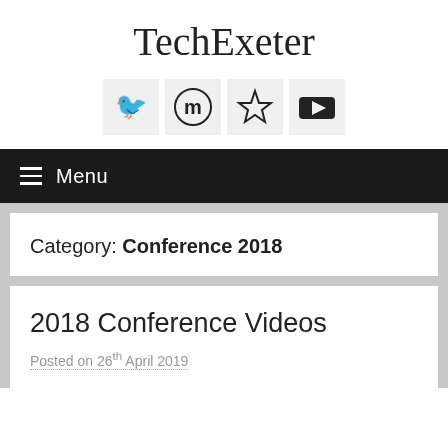TechExeter
[Figure (screenshot): Four social media icon buttons in light gray boxes: Twitter bird icon, Meetup 'm' icon, Star/favorites icon, YouTube play button icon]
Menu
Category: Conference 2018
2018 Conference Videos
Posted on 26th April 2019